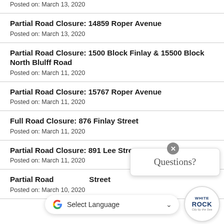Posted on: March 13, 2020
Partial Road Closure: 14859 Roper Avenue
Posted on: March 13, 2020
Partial Road Closure: 1500 Block Finlay & 15500 Block North Blulff Road
Posted on: March 11, 2020
Partial Road Closure: 15767 Roper Avenue
Posted on: March 11, 2020
Full Road Closure: 876 Finlay Street
Posted on: March 11, 2020
Partial Road Closure: 891 Lee Street
Posted on: March 11, 2020
Partial Road Closure: [partially obscured] Street
Posted on: March 10, 2020